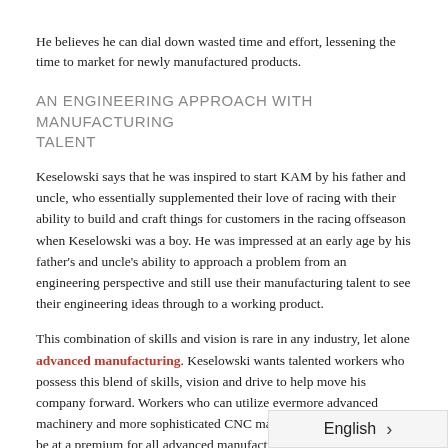He believes he can dial down wasted time and effort, lessening the time to market for newly manufactured products.
AN ENGINEERING APPROACH WITH MANUFACTURING TALENT
Keselowski says that he was inspired to start KAM by his father and uncle, who essentially supplemented their love of racing with their ability to build and craft things for customers in the racing offseason when Keselowski was a boy. He was impressed at an early age by his father's and uncle's ability to approach a problem from an engineering perspective and still use their manufacturing talent to see their engineering ideas through to a working product.
This combination of skills and vision is rare in any industry, let alone advanced manufacturing. Keselowski wants talented workers who possess this blend of skills, vision and drive to help move his company forward. Workers who can utilize evermore advanced machinery and more sophisticated CNC machines and devices will be at a premium for all advanced manufacturing companies over the next decade or so. Keselowski's company is one of many looking [in] this industry.